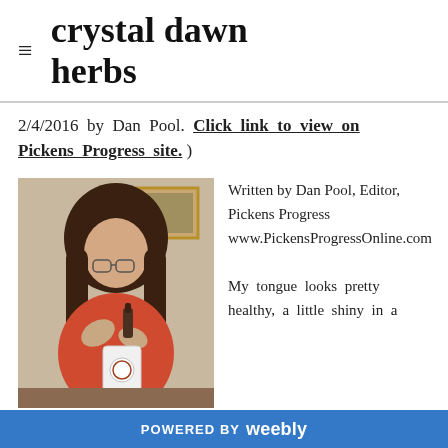crystal dawn herbs
2/4/2016 by Dan Pool. Click link to view on Pickens Progress site. )
[Figure (photo): Woman with long dark hair wearing a red sweater, using a dropper bottle over a white cup with a logo, in an indoor setting with a framed picture in the background.]
Written by Dan Pool, Editor, Pickens Progress www.PickensProgressOnline.com
My tongue looks pretty healthy, a little shiny in a
POWERED BY weebly